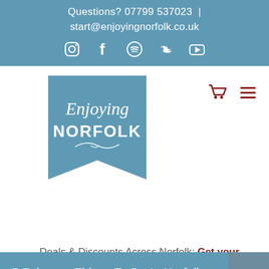Questions? 07799 537023 | start@enjoyingnorfolk.co.uk
[Figure (logo): Enjoying Norfolk logo - banner shaped logo with text Enjoying NORFOLK in white on blue background]
[Figure (infographic): Shopping cart icon and hamburger menu icon in dark red/maroon color]
Deals & Discounts Across Norfolk: Get your Enjoying Norfolk Card
5 February Things To Do In Norfolk